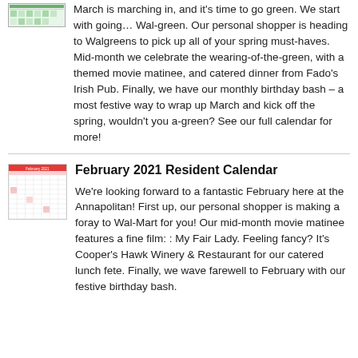March is marching in, and it's time to go green. We start with going… Wal-green. Our personal shopper is heading to Walgreens to pick up all of your spring must-haves. Mid-month we celebrate the wearing-of-the-green, with a themed movie matinee, and catered dinner from Fado's Irish Pub. Finally, we have our monthly birthday bash – a most festive way to wrap up March and kick off the spring, wouldn't you a-green? See our full calendar for more!
[Figure (other): Small thumbnail of a March resident calendar with green color icons]
February 2021 Resident Calendar
[Figure (other): Small thumbnail of a February 2021 resident calendar with pink/red color theme and activity icons]
We're looking forward to a fantastic February here at the Annapolitan! First up, our personal shopper is making a foray to Wal-Mart for you! Our mid-month movie matinee features a fine film: : My Fair Lady. Feeling fancy? It's Cooper's Hawk Winery & Restaurant for our catered lunch fete. Finally, we wave farewell to February with our festive birthday bash.